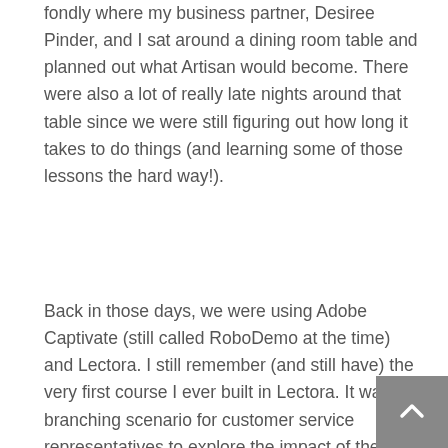fondly where my business partner, Desiree Pinder, and I sat around a dining room table and planned out what Artisan would become. There were also a lot of really late nights around that table since we were still figuring out how long it takes to do things (and learning some of those lessons the hard way!).
Back in those days, we were using Adobe Captivate (still called RoboDemo at the time) and Lectora. I still remember (and still have) the very first course I ever built in Lectora. It was a branching scenario for customer service representatives to explore the impact of the words they choose. I was so proud of myself for pulling it